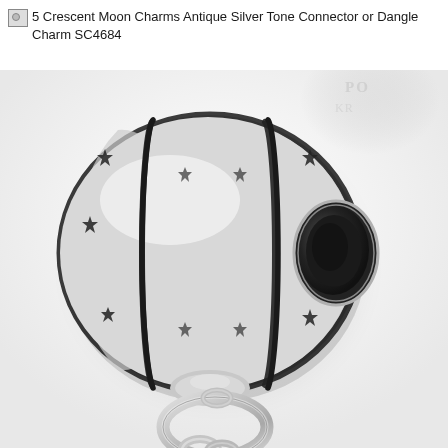5 Crescent Moon Charms Antique Silver Tone Connector or Dangle Charm SC4684
[Figure (photo): Close-up product photo of a silver-tone barrel/cylinder charm bead with star cutouts and two black grooved lines around the circumference. The charm has a circular opening on the right side and dangles below via two interlocked silver rings leading to a chain or additional charm element, on a white background.]